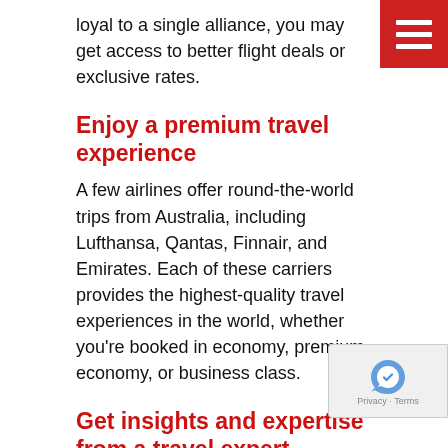loyal to a single alliance, you may get access to better flight deals or exclusive rates.
Enjoy a premium travel experience
A few airlines offer round-the-world trips from Australia, including Lufthansa, Qantas, Finnair, and Emirates. Each of these carriers provides the highest-quality travel experiences in the world, whether you're booked in economy, premium economy, or business class.
Get insights and expertise from a travel expert
If you book your round-the-world flights with a specialist travel agency like Airfare Geeks, you'll have access to a dedicated consultant with deep travel industry experience. Not only can our team help you find the RTW flights, but we can book your accommodation, share